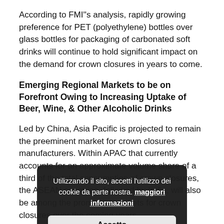According to FMI''s analysis, rapidly growing preference for PET (polyethylene) bottles over glass bottles for packaging of carbonated soft drinks will continue to hold significant impact on the demand for crown closures in years to come.
Emerging Regional Markets to be on Forefront Owing to Increasing Uptake of Beer, Wine, & Other Alcoholic Drinks
Led by China, Asia Pacific is projected to remain the preeminent market for crown closures manufacturers. Within APAC that currently accounts for an approximate volume share of a third of the total consumption of crown closures, the ASEAN countries, followed by India, will also be among the prominent markets for crown closures over the coming years.
Preview Analysis of Crown Closures Market is